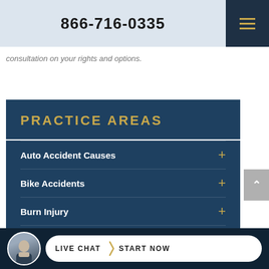866-716-0335
consultation on your rights and options.
PRACTICE AREAS
Auto Accident Causes
Bike Accidents
Burn Injury
Bus Accidents
LIVE CHAT  START NOW